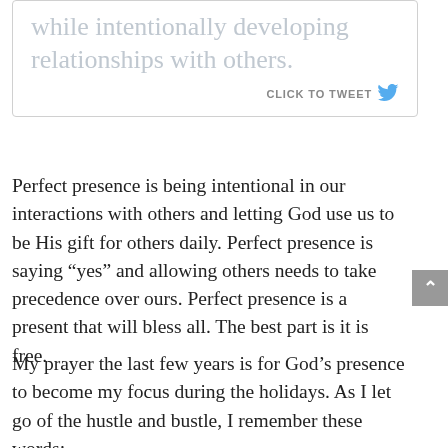while intentionally developing relationships with others.
CLICK TO TWEET
Perfect presence is being intentional in our interactions with others and letting God use us to be His gift for others daily. Perfect presence is saying “yes” and allowing others needs to take precedence over ours. Perfect presence is a present that will bless all. The best part is it is free.
My prayer the last few years is for God’s presence to become my focus during the holidays. As I let go of the hustle and bustle, I remember these words: